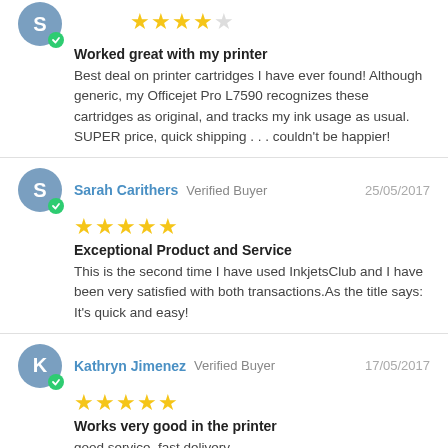★★★★☆
Worked great with my printer
Best deal on printer cartridges I have ever found! Although generic, my Officejet Pro L7590 recognizes these cartridges as original, and tracks my ink usage as usual. SUPER price, quick shipping . . . couldn't be happier!
Sarah Carithers  Verified Buyer  25/05/2017
★★★★★
Exceptional Product and Service
This is the second time I have used InkjetsClub and I have been very satisfied with both transactions.As the title says: It's quick and easy!
Kathryn Jimenez  Verified Buyer  17/05/2017
★★★★★
Works very good in the printer
good service, fast delivery.